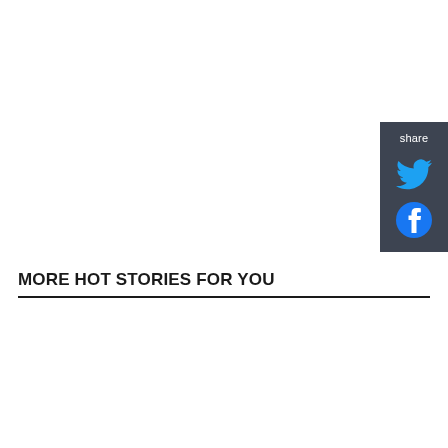[Figure (other): Social share widget with 'share' label, Twitter bird icon, and Facebook circle icon on dark gray background]
MORE HOT STORIES FOR YOU